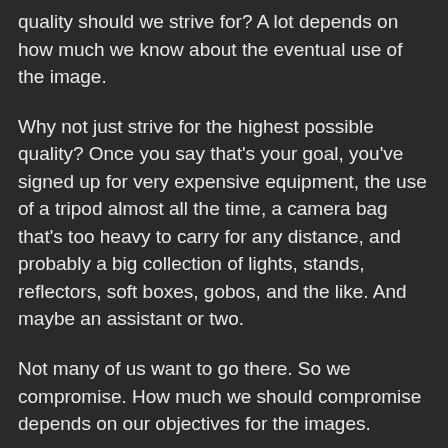quality should we strive for? A lot depends on how much we know about the eventual use of the image.
Why not just strive for the highest possible quality? Once you say that's your goal, you've signed up for very expensive equipment, the use of a tripod almost all the time, a camera bag that's too heavy to carry for any distance, and probably a big collection of lights, stands, reflectors, soft boxes, gobos, and the like. And maybe an assistant or two.
Not many of us want to go there. So we compromise. How much we should compromise depends on our objectives for the images.
If we're shooting for the web, a very small sensor is all we need, if the image can tolerate the deep depth of